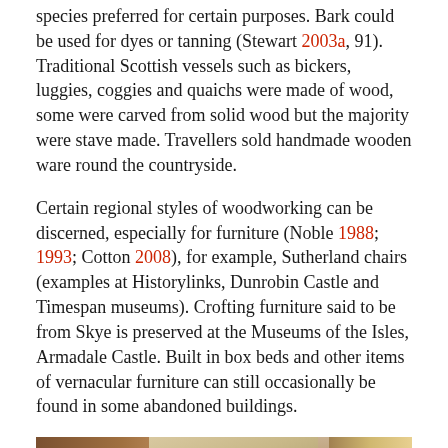species preferred for certain purposes. Bark could be used for dyes or tanning (Stewart 2003a, 91). Traditional Scottish vessels such as bickers, luggies, coggies and quaichs were made of wood, some were carved from solid wood but the majority were stave made. Travellers sold handmade wooden ware round the countryside.
Certain regional styles of woodworking can be discerned, especially for furniture (Noble 1988; 1993; Cotton 2008), for example, Sutherland chairs (examples at Historylinks, Dunrobin Castle and Timespan museums). Crofting furniture said to be from Skye is preserved at the Museums of the Isles, Armadale Castle. Built in box beds and other items of vernacular furniture can still occasionally be found in some abandoned buildings.
[Figure (photo): Photograph of what appears to be wooden furniture hardware or fittings, showing dark metal knobs and a horizontal bar/rail against a wooden background with a light-colored wall visible.]